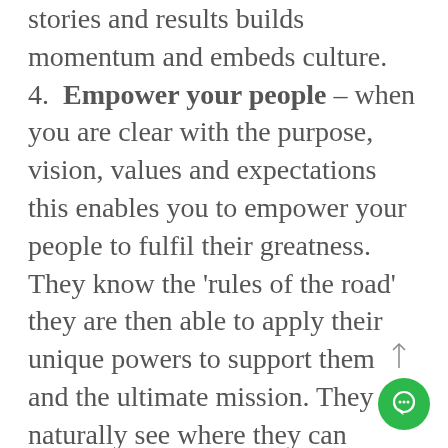stories and results builds momentum and embeds culture. 4. Empower your people – when you are clear with the purpose, vision, values and expectations this enables you to empower your people to fulfil their greatness. They know the 'rules of the road' they are then able to apply their unique powers to support them and the ultimate mission. They can naturally see where they can position themselves to demonstrate and deliver their part of the vision and values. Empowering your people to innovate, challenge the status quo, probe new and different approaches provides nourishing conditions that
[Figure (illustration): Green circular chat/messenger button with a white chat bubble icon, with an upward-pointing arrow above it]